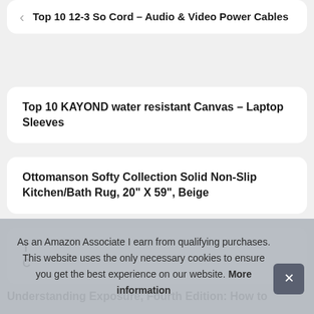Top 10 12-3 So Cord – Audio & Video Power Cables
Top 10 KAYOND water resistant Canvas – Laptop Sleeves
Ottomanson Softy Collection Solid Non-Slip Kitchen/Bath Rug, 20" X 59", Beige
T C
As an Amazon Associate I earn from qualifying purchases. This website uses the only necessary cookies to ensure you get the best experience on our website. More information
Understanding Exposure, Fourth Edition: How to